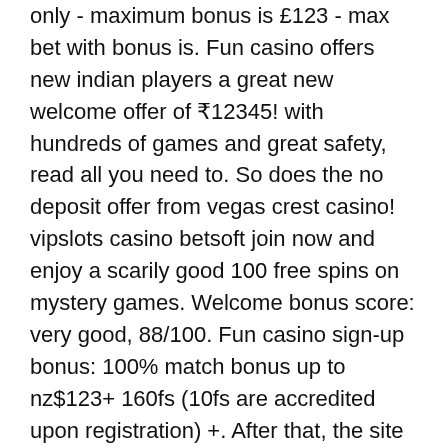only - maximum bonus is £123 - max bet with bonus is. Fun casino offers new indian players a great new welcome offer of ₹12345! with hundreds of games and great safety, read all you need to. So does the no deposit offer from vegas crest casino! vipslots casino betsoft join now and enjoy a scarily good 100 free spins on mystery games. Welcome bonus score: very good, 88/100. Fun casino sign-up bonus: 100% match bonus up to nz$123+ 160fs (10fs are accredited upon registration) +. After that, the site will also match your bet by the same amount for your second deposit, minus the free spins. There are several wagering requirements you. Join fun casino uk now! get your £123 casino welcome bonus + 10% cashback at fun casino - discover the latest slot games and the funnest. Grab one of fun casino no deposit bonus codes for new and existing